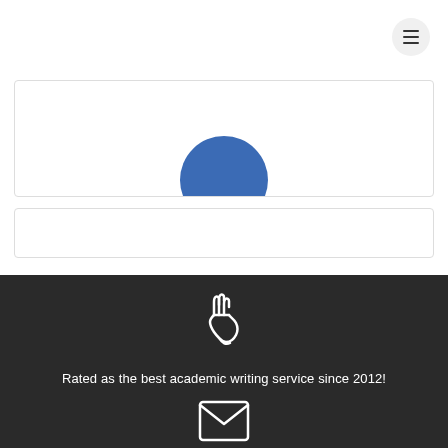[Figure (other): Hamburger menu button (three horizontal lines) inside a circular light gray button in the top-right corner]
[Figure (other): White card with a blue circle avatar partially visible at the bottom center]
[Figure (other): Empty white card with a light gray border]
[Figure (illustration): White peace/victory hand emoji icon on dark background]
Rated as the best academic writing service since 2012!
[Figure (illustration): White envelope/mail icon on dark background, partially visible at bottom]